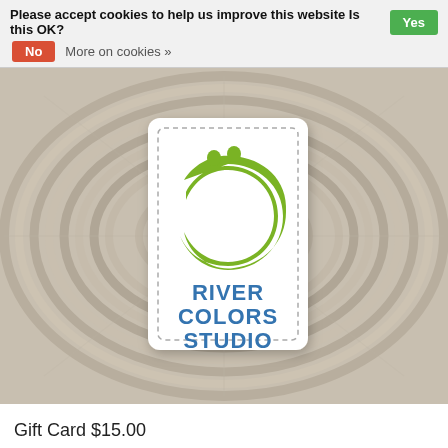Please accept cookies to help us improve this website Is this OK?   Yes   No   More on cookies »
[Figure (logo): River Colors Studio gift card product photo — a white card with dashed border showing the River Colors Studio logo (green swirl shape above blue text reading RIVER COLORS STUDIO), placed on a wicker/rattan circular woven background.]
Gift Card $15.00